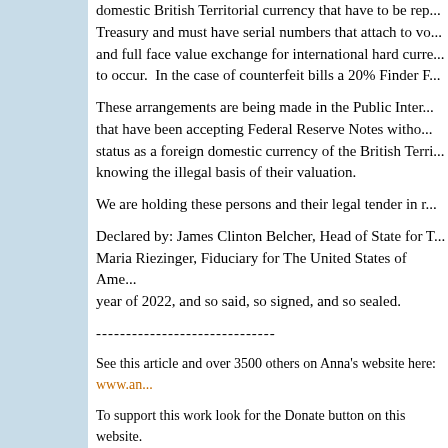domestic British Territorial currency that have to be rep... Treasury and must have serial numbers that attach to vo... and full face value exchange for international hard curre... to occur.  In the case of counterfeit bills a 20% Finder F...
These arrangements are being made in the Public Inter... that have been accepting Federal Reserve Notes witho... status as a foreign domestic currency of the British Terri... knowing the illegal basis of their valuation.
We are holding these persons and their legal tender in r...
Declared by: James Clinton Belcher, Head of State for T... Maria Riezinger, Fiduciary for The United States of Ame... year of 2022, and so said, so signed, and so sealed.
------------------------------
See this article and over 3500 others on Anna's website here: www.an...
To support this work look for the Donate button on this website.
How do we use your donations?  Find out here.